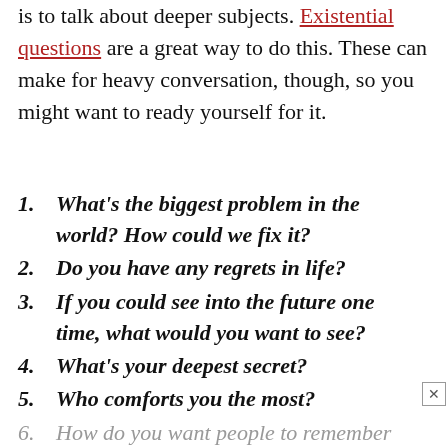is to talk about deeper subjects. Existential questions are a great way to do this. These can make for heavy conversation, though, so you might want to ready yourself for it.
1. What's the biggest problem in the world? How could we fix it?
2. Do you have any regrets in life?
3. If you could see into the future one time, what would you want to see?
4. What's your deepest secret?
5. Who comforts you the most?
6. How do you want people to remember you?